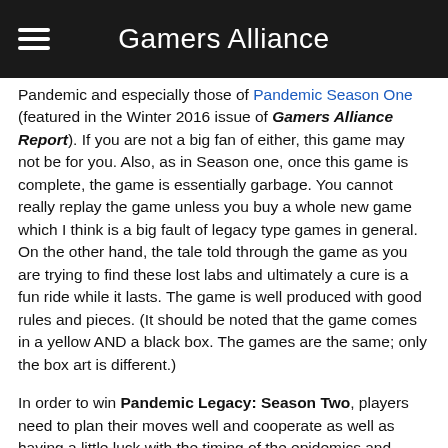Gamers Alliance
Pandemic and especially those of Pandemic Season One (featured in the Winter 2016 issue of Gamers Alliance Report).  If you are not a big fan of either, this game may not be for you.  Also, as in Season one, once this game is complete,  the game is essentially garbage.  You cannot really replay the game unless you buy a whole new game which I think is a big fault of legacy type games in general.  On the other hand, the tale told through the game as you are trying to find these lost labs and ultimately a cure is a fun ride while it lasts.  The game is well produced with good rules and pieces. (It should be noted that the game comes in a yellow AND a black box. The games are the same; only the box art is different.)
In order to win Pandemic Legacy: Season Two, players need to plan their moves well and cooperate as well as having a little luck with the timing of the epidemics and infections.  You have to adapt your strategy as you progress in order to meet the changing circumstances. An eight out of ten even with my reservations with